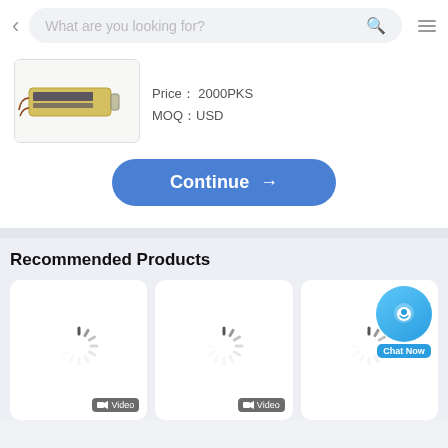[Figure (screenshot): Mobile app screenshot showing a search bar with back arrow and menu icon, a product listing for a battery with price 2000PKS and MOQ USD, a blue Continue button, and a Recommended Products section with three loading product cards showing spinners and Video badges, plus a Chat Now button.]
What are you looking for?
Price: 2000PKS
MOQ: USD
Continue →
Recommended Products
Video
Video
Chat Now